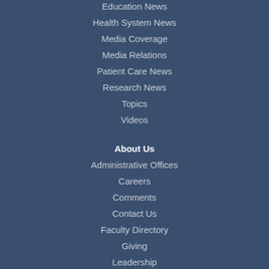Education News
Health System News
Media Coverage
Media Relations
Patient Care News
Research News
Topics
Videos
About Us
Administrative Offices
Careers
Comments
Contact Us
Faculty Directory
Giving
Leadership
Maps & Directions
Office of the President